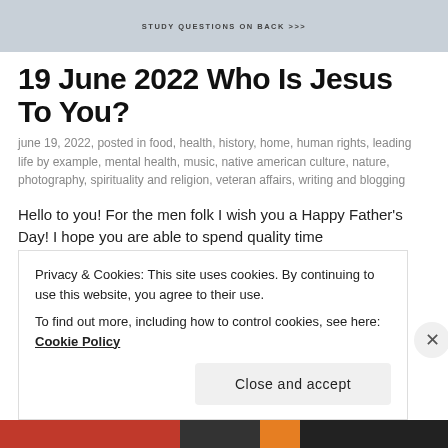[Figure (photo): Top portion of a physical card or pamphlet with text 'STUDY QUESTIONS ON BACK >>>' visible on a light blue/grey background]
19 June 2022 Who Is Jesus To You?
june 19, 2022, posted in food, health, history, home, human rights, leading life by example, mental health, music, native american culture, nature, photography, spirituality and religion, veteran affairs, writing and blogging
Hello to you! For the men folk I wish you a Happy Father's Day! I hope you are able to spend quality time
Privacy & Cookies: This site uses cookies. By continuing to use this website, you agree to their use.
To find out more, including how to control cookies, see here: Cookie Policy
Close and accept